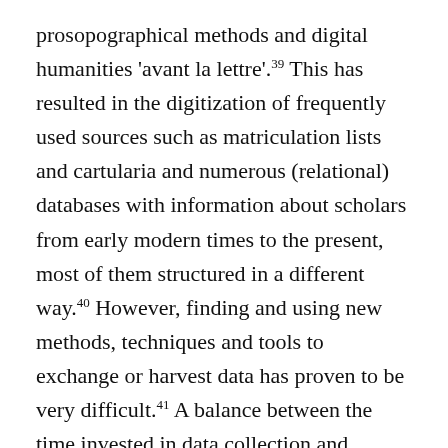prosopographical methods and digital humanities 'avant la lettre'.39 This has resulted in the digitization of frequently used sources such as matriculation lists and cartularia and numerous (relational) databases with information about scholars from early modern times to the present, most of them structured in a different way.40 However, finding and using new methods, techniques and tools to exchange or harvest data has proven to be very difficult.41 A balance between the time invested in data collection and research results has not yet been found. The solution lies between, on the one hand, the integration of the flexibility and user-friendliness of collective hypertexts in which every research community member can create and edit data and, on the other hand, rigidly